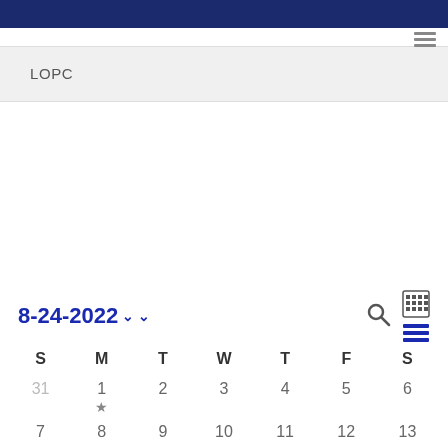LOPC
8-24-2022
| S | M | T | W | T | F | S |
| --- | --- | --- | --- | --- | --- | --- |
| 31 | 1 | 2 | 3 | 4 | 5 | 6 |
| 7 | 8 | 9 | 10 | 11 | 12 | 13 |